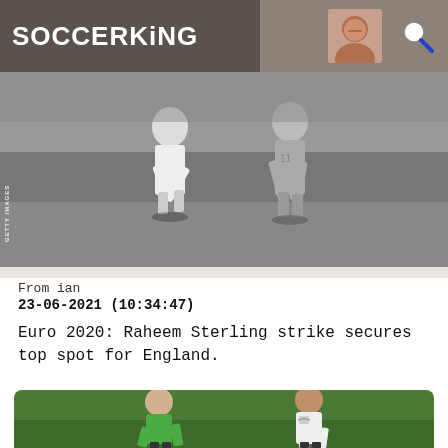SOCCERKING
[Figure (photo): Black and white photograph of football players in action, vintage match scene. Getty Images watermark visible.]
From ian
23-06-2021 (10:34:47)
Euro 2020: Raheem Sterling strike secures top spot for England.
[Figure (photo): Color photograph of two England football players on a green pitch, one in green goalkeeper kit and one in white England kit with Three Lions badge.]